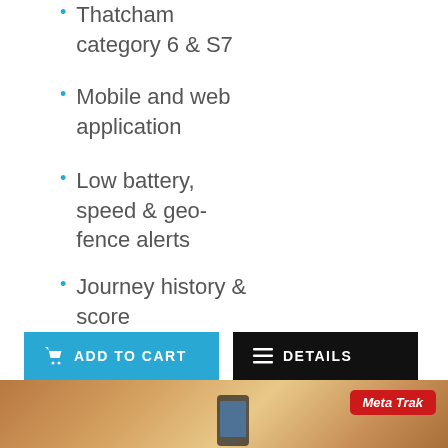Thatcham category 6 & S7
Mobile and web application
Low battery, speed & geo-fence alerts
Journey history & score
[Figure (screenshot): Two buttons: blue ADD TO CART button with cart icon, and black DETAILS button with list icon]
[Figure (photo): Blurred warm background photo of person holding smartphone showing a map app, with Meta Trak red badge logo in top right corner]